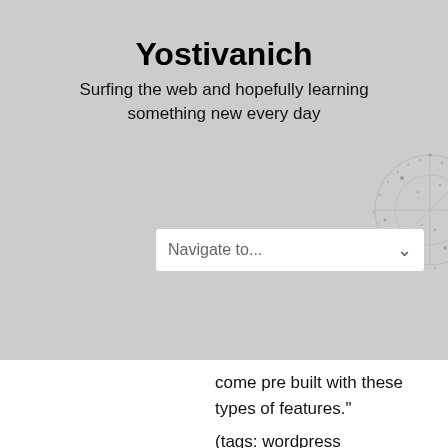Yostivanich
Surfing the web and hopefully learning something new every day
Navigate to...
come pre built with these types of features."
(tags: wordpress webdevelopment webdesign php cms)
FiveThirtyEight: Politics Done Right: I Read Through 160,000,000 Bytes of Hacked Files And All I Got Was This Lousy E-Mail
"Still: I don't know how you get from some scientist having sexed up a graph in East Anglia ten years ago to The Final Nail In The Coffin of Anthropogenic Global Warming. Anyone who comes to that